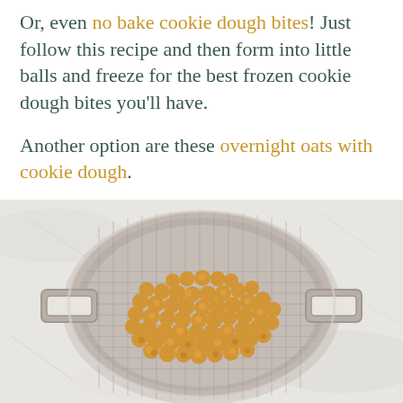Or, even no bake cookie dough bites! Just follow this recipe and then form into little balls and freeze for the best frozen cookie dough bites you'll have.

Another option are these overnight oats with cookie dough.
[Figure (photo): A metal mesh colander/strainer with two handles, viewed from above on a light marble surface, filled with golden chickpeas.]